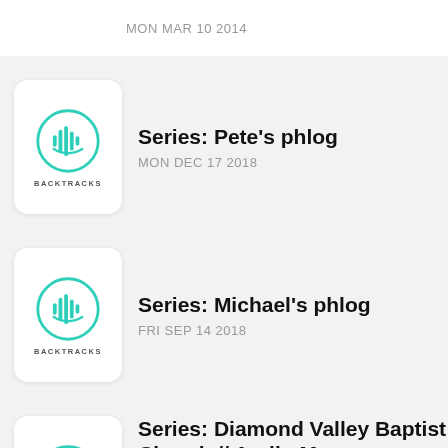[Figure (logo): Backtracks logo - teal waveform in circle with BACKTRACKS text]
Series: Pete's phlog
MON DEC 17 2018
[Figure (logo): Backtracks logo - teal waveform in circle with BACKTRACKS text]
Series: Michael's phlog
FRI SEP 14 2018
[Figure (logo): Backtracks logo - teal waveform in circle with BACKTRACKS text]
Series: Diamond Valley Baptist Church // Audio Messages
THU JAN 03 2019